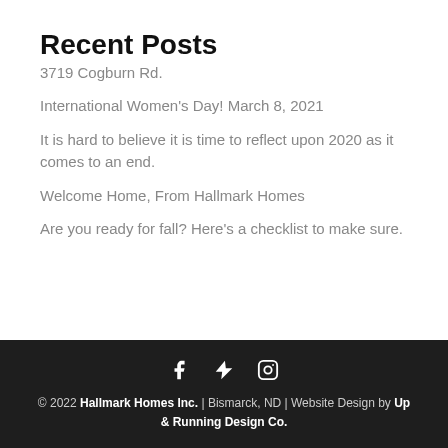Recent Posts
3719 Cogburn Rd.
International Women's Day! March 8, 2021
It is hard to believe it is time to reflect upon 2020 as it comes to an end.
Welcome Home, From Hallmark Homes
Are you ready for fall? Here's a checklist to make sure.
© 2022 Hallmark Homes Inc. | Bismarck, ND | Website Design by Up & Running Design Co.